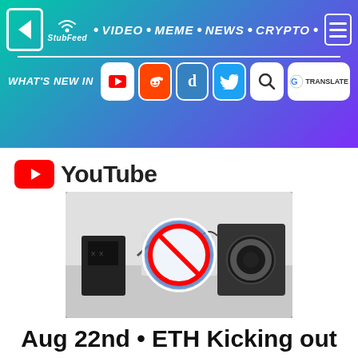StubFeed • VIDEO • MEME • NEWS • CRYPTO • [nav icons] WHAT'S NEW IN [YouTube, Reddit, Digg, Twitter, Search, Google Translate icons]
[Figure (screenshot): YouTube video thumbnail showing ASIC mining equipment with a no-play/blocked overlay circle icon on a dark background]
Aug 22nd • ETH Kicking out the Asics Miners